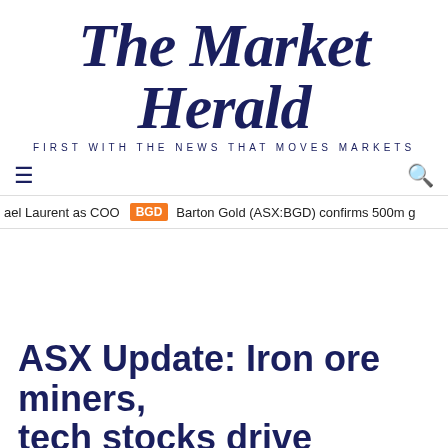The Market Herald — FIRST WITH THE NEWS THAT MOVES MARKETS
≡  🔍
ael Laurent as COO  BGD  Barton Gold (ASX:BGD) confirms 500m g
ASX Update: Iron ore miners, tech stocks drive rebound
Day Trading
[Figure (illustration): BitLife advertisement banner with 'NOW WITH GOD MODE' text on a blue background, with cartoon hands and lightning bolt graphics. Close and help buttons in top right corner.]